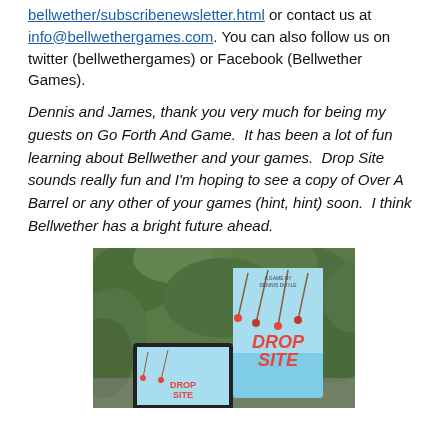bellwether/subscribenewsletter.html or contact us at info@bellwethergames.com. You can also follow us on twitter (bellwethergames) or Facebook (Bellwether Games).
Dennis and James, thank you very much for being my guests on Go Forth And Game. It has been a lot of fun learning about Bellwether and your games. Drop Site sounds really fun and I'm hoping to see a copy of Over A Barrel or any other of your games (hint, hint) soon. I think Bellwether has a bright future ahead.
[Figure (photo): Photo of the Drop Site board game box standing upright in front of green leafy plants outdoors, with a tablet device showing game artwork in the foreground.]